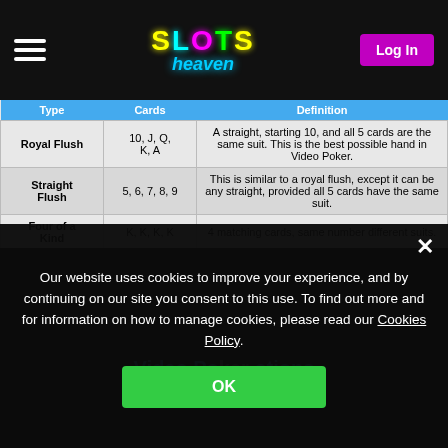Slots Heaven - Log In
| Type | Cards | Definition |
| --- | --- | --- |
| Royal Flush | 10, J, Q, K, A | A straight, starting 10, and all 5 cards are the same suit. This is the best possible hand in Video Poker. |
| Straight Flush | 5, 6, 7, 8, 9 | This is similar to a royal flush, except it can be any straight, provided all 5 cards have the same suit. |
| Four of a Kind | K, K, K, K | 4 matching cards, same number different suits. |
| Full House | 9, 9, 9, 3, 3 | Three of a kind and a pair in the same hand. |
| Flush | A, 5, 10, 4, Q | All 5 cards have the same suit. |
| Straight | 3, 4, 5, 6, 7 | Any 5 cards in sequential order. |
| Three-of-a-Kind | 10, 10, 10 | Three cards with the same number. |
| Two Pair | 4, 4, 8, 8 | Two sets of matching cards. |
Our website uses cookies to improve your experience, and by continuing on our site you consent to this use. To find out more and for information on how to manage cookies, please read our Cookies Policy.